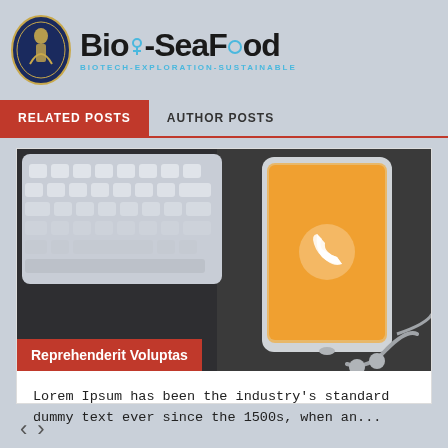[Figure (logo): Bio-SeaFood logo with emblem badge on left and stylized text 'Bio-SeaFood' with subtitle 'BIOTECH-EXPLORATION-SUSTAINABLE' on right]
RELATED POSTS | AUTHOR POSTS
[Figure (photo): Photo of a smartphone with orange screen showing phone/call icon, lying next to a white keyboard and earphones on a dark desk surface]
Reprehenderit Voluptas
Lorem Ipsum has been the industry's standard dummy text ever since the 1500s, when an...
< >